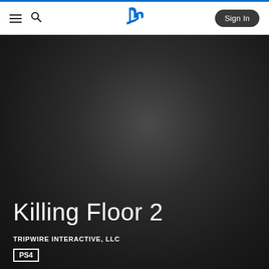PlayStation Store navigation bar with hamburger menu, search icon, PlayStation logo, and Sign In button
[Figure (screenshot): Dark hero background with radial gradient for Killing Floor 2 game page on PlayStation Store]
Killing Floor 2
TRIPWIRE INTERACTIVE, LLC
PS4